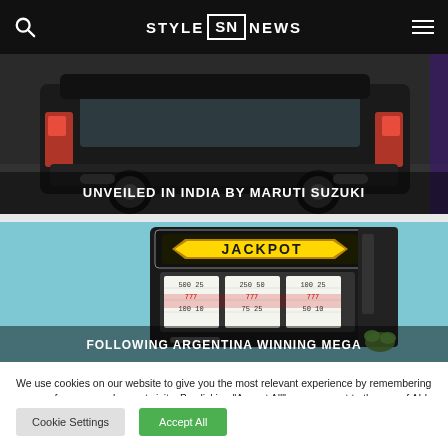STYLE SN NEWS
[Figure (photo): Dark SUV vehicle rear view on display stage with text overlay 'UNVEILED IN INDIA BY MARUTI SUZUKI']
[Figure (photo): Jackpot slot machine on light blue background with partial text overlay 'FOLLOWING ARGENTINA WINNING MEGA']
We use cookies on our website to give you the most relevant experience by remembering your preferences and repeat visits. By clicking "Accept All", you consent to the use of ALL the cookies. However, you may visit "Cookie Settings" to provide a controlled consent.
Cookie Settings | Accept All